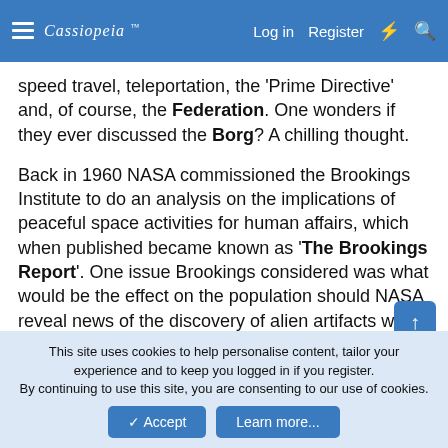Cassiopeia  Log in  Register
speed travel, teleportation, the 'Prime Directive' and, of course, the Federation. One wonders if they ever discussed the Borg? A chilling thought.
Back in 1960 NASA commissioned the Brookings Institute to do an analysis on the implications of peaceful space activities for human affairs, which when published became known as 'The Brookings Report'. One issue Brookings considered was what would be the effect on the population should NASA reveal news of the discovery of alien artifacts within our solar system. The view eventually taken by the Brookings Report was that such an announcement could lead to world wide chaos, which could seriously damage the
This site uses cookies to help personalise content, tailor your experience and to keep you logged in if you register. By continuing to use this site, you are consenting to our use of cookies.
✓ Accept   Learn more...